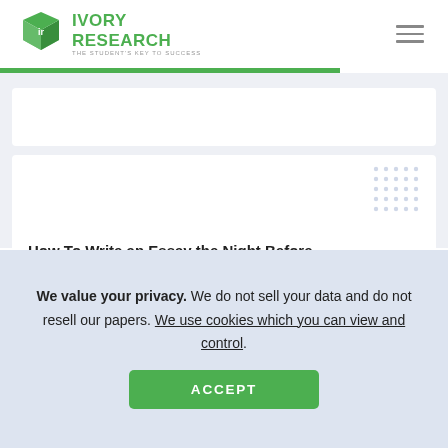[Figure (logo): Ivory Research logo — green 3D book icon with 'ir' initials, green bold text 'IVORY RESEARCH', tagline 'THE STUDENT'S KEY TO SUCCESS']
[Figure (other): Hamburger menu icon (three horizontal lines)]
How To Write an Essay the Night Before
How To Write a Good Law Essay?
We value your privacy. We do not sell your data and do not resell our papers. We use cookies which you can view and control.
ACCEPT